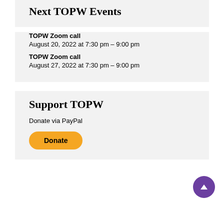Next TOPW Events
TOPW Zoom call
August 20, 2022 at 7:30 pm – 9:00 pm
TOPW Zoom call
August 27, 2022 at 7:30 pm – 9:00 pm
Support TOPW
Donate via PayPal
Donate